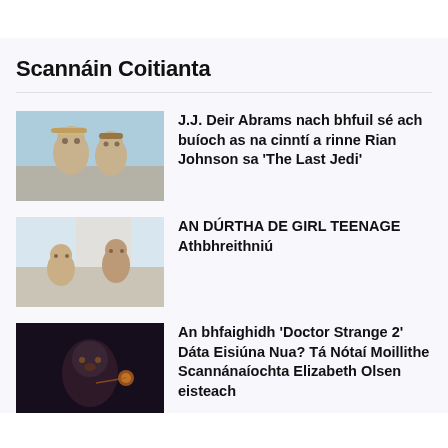Scannáin Coitianta
[Figure (photo): Two men outdoors in a desert setting, one wearing a hat and sunglasses]
J.J. Deir Abrams nach bhfuil sé ach buíoch as na cinntí a rinne Rian Johnson sa 'The Last Jedi'
[Figure (photo): Two young women indoors, one sitting on a counter]
AN DÚRTHA DE GIRL TEENAGE Athbhreithniú
[Figure (photo): A man in a dark scene with glowing light effects, from Doctor Strange]
An bhfaighidh 'Doctor Strange 2' Dáta Eisiúna Nua? Tá Nótaí Moillithe Scannánaíochta Elizabeth Olsen eisteach